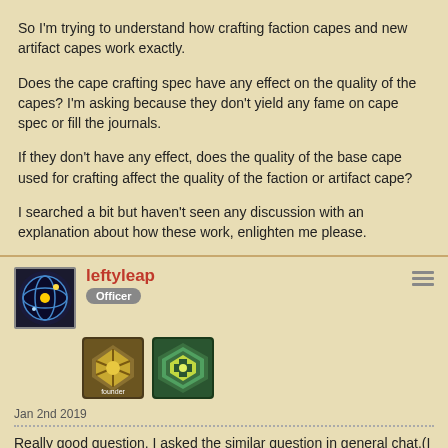So I'm trying to understand how crafting faction capes and new artifact capes work exactly.
Does the cape crafting spec have any effect on the quality of the capes? I'm asking because they don't yield any fame on cape spec or fill the journals.
If they don't have any effect, does the quality of the base cape used for crafting affect the quality of the faction or artifact cape?
I searched a bit but haven't seen any discussion with an explanation about how these work, enlighten me please.
leftyleap
Officer
Jan 2nd 2019
Really good question. I asked the similar question in general chat.(I don't recommend that by the way; GC lied to me.) The quality of the cape used